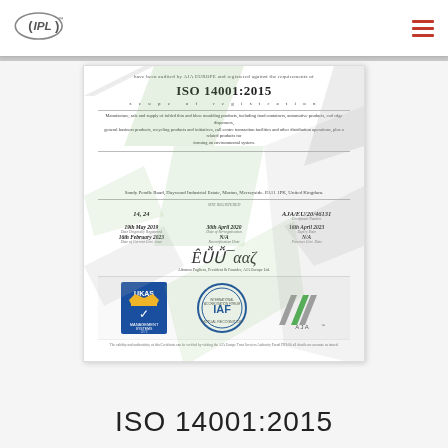[Figure (logo): IPL logo in top navigation bar]
[Figure (illustration): ISO 14001:2015 certificate document showing scope of registration, dates, certificate number AJA/EU/20/46131, signatures, UKAS, IAF and AJA logos, with diagonal green and grey watermark stripes]
ISO 14001:2015